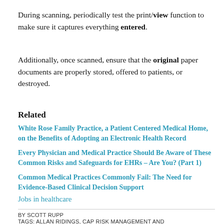During scanning, periodically test the print/view function to make sure it captures everything entered.
Additionally, once scanned, ensure that the original paper documents are properly stored, offered to patients, or destroyed.
Related
White Rose Family Practice, a Patient Centered Medical Home, on the Benefits of Adopting an Electronic Health Record
Every Physician and Medical Practice Should Be Aware of These Common Risks and Safeguards for EHRs – Are You? (Part 1)
Common Medical Practices Commonly Fail: The Need for Evidence-Based Clinical Decision Support
Jobs in healthcare
BY SCOTT RUPP
TAGS: ALLAN RIDINGS, CAP RISK MANAGEMENT AND PATIENT SAFETY, COMMON RISKS AND SAFEGUARDS FOR